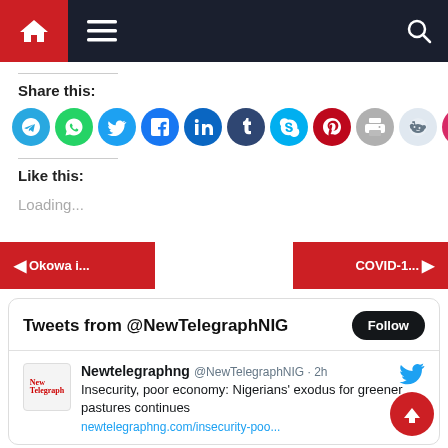[Figure (screenshot): Navigation bar with home icon (red background), hamburger menu icon, and search icon on dark navy background]
Share this:
[Figure (infographic): Row of social share buttons: Telegram (blue), WhatsApp (green), Twitter (light blue), Facebook (blue), LinkedIn (dark blue), Tumblr (dark navy), Skype (cyan), Pinterest (red), Print (gray), Reddit (light blue-gray), Pocket (pink-red)]
Like this:
Loading...
◄ Okowa i...
COVID-1... ►
Tweets from @NewTelegraphNIG
Newtelegraphng @NewTelegraphNIG · 2h
Insecurity, poor economy: Nigerians' exodus for greener pastures continues
newtelegraphng.com/insecurity-poo...